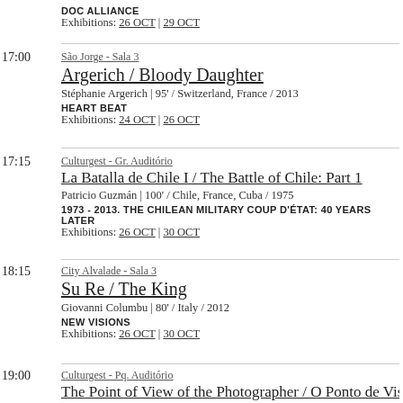DOC ALLIANCE
Exhibitions: 26 OCT | 29 OCT
17:00
São Jorge - Sala 3
Argerich / Bloody Daughter
Stéphanie Argerich | 95' / Switzerland, France / 2013
HEART BEAT
Exhibitions: 24 OCT | 26 OCT
17:15
Culturgest - Gr. Auditório
La Batalla de Chile I / The Battle of Chile: Part 1
Patricio Guzmán | 100' / Chile, France, Cuba / 1975
1973 - 2013. THE CHILEAN MILITARY COUP D'ÉTAT: 40 YEARS LATER
Exhibitions: 26 OCT | 30 OCT
18:15
City Alvalade - Sala 3
Su Re / The King
Giovanni Columbu | 80' / Italy / 2012
NEW VISIONS
Exhibitions: 26 OCT | 30 OCT
19:00
Culturgest - Pq. Auditório
The Point of View of the Photographer / O Ponto de Vista do
V.A. |